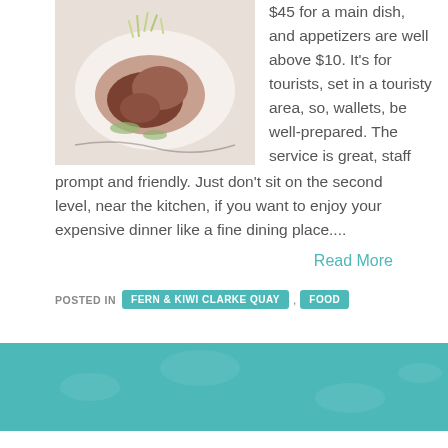[Figure (photo): A plated food dish — meat with dark sauce and microgreens on a white plate]
$45 for a main dish, and appetizers are well above $10. It's for tourists, set in a touristy area, so, wallets, be well-prepared. The service is great, staff prompt and friendly. Just don't sit on the second level, near the kitchen, if you want to enjoy your expensive dinner like a fine dining place....
Read More
POSTED IN  FERN & KIWI CLARKE QUAY  ,  FOOD
THE SUSHI BAR @ORCHARD, FAR EAST PLAZA